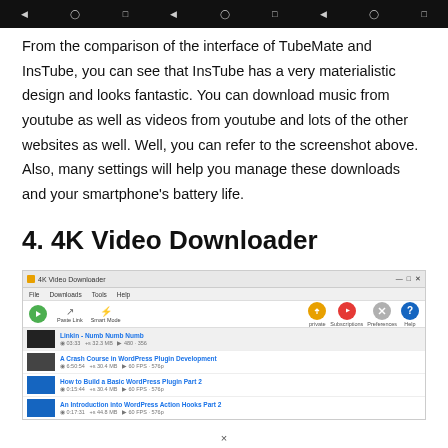[Figure (screenshot): Android navigation bar at top of page with back, home, and recent app buttons repeated three times on black background]
From the comparison of the interface of TubeMate and InsTube, you can see that InsTube has a very materialistic design and looks fantastic. You can download music from youtube as well as videos from youtube and lots of the other websites as well. Well, you can refer to the screenshot above. Also, many settings will help you manage these downloads and your smartphone's battery life.
4. 4K Video Downloader
[Figure (screenshot): Screenshot of the 4K Video Downloader desktop application showing a list of downloaded video items including 'Linkin - Numb Numb Numb', 'A Crash Course in WordPress Plugin Development', 'How to Build a Basic WordPress Plugin Part 2', and 'An Introduction into WordPress Action Hooks Part 2' with toolbar icons for Paste Link, Smart Mode, private/subscription/preferences/help buttons]